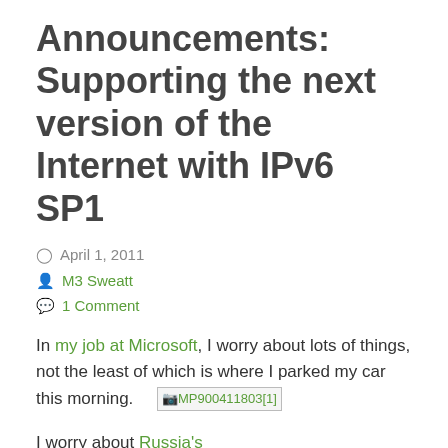Announcements: Supporting the next version of the Internet with IPv6 SP1
April 1, 2011
M3 Sweatt
1 Comment
In my job at Microsoft, I worry about lots of things, not the least of which is where I parked my car this morning. [MP900411803[1]]
I worry about Russia's move to abolish Daylight